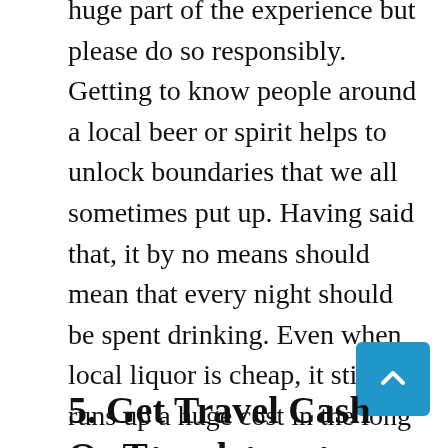huge part of the experience but please do so responsibly. Getting to know people around a local beer or spirit helps to unlock boundaries that we all sometimes put up. Having said that, it by no means should mean that every night should be spent drinking. Even when local liquor is cheap, it still runs up a huge cost in the long run, and it can also end up completely wiping out your next day, which, once in a while is all well and good, but to do it every day just means missing out on the sights and sounds around the area which were the reasons for traveling there. I've met a few travelers who've spent their whole trip just drinking and partying, and have ultimately ended up regretting it. By all means, if you have to, please drink responsibly.
5. Get Travel Cash Or Travel